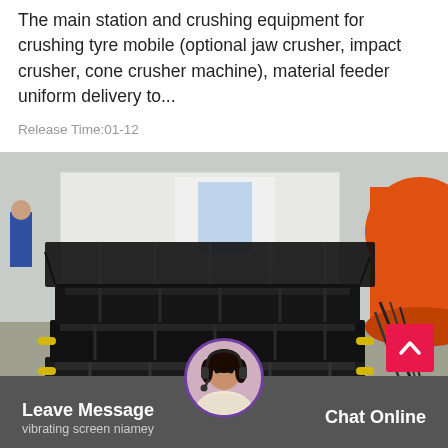The main station and crushing equipment for crushing tyre mobile (optional jaw crusher, impact crusher, cone crusher machine), material feeder uniform delivery to...
Release Time:01-12
[Figure (photo): Industrial vibrating screen equipment stacked in a factory yard, with an orange cylindrical drum visible in the upper right. A worker in blue is visible in the background left.]
Leave Message
vibrating screen niamey
Chat Online